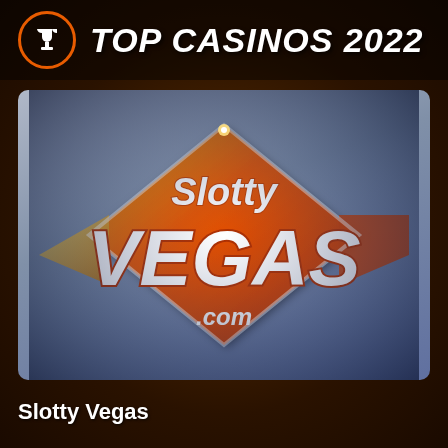TOP CASINOS 2022
[Figure (logo): Slotty Vegas casino logo — large stylized orange and white text reading 'Slotty VEGAS .com' on a diamond/star shaped orange background with gold accents, displayed on a blue-grey rounded rectangle card]
Slotty Vegas